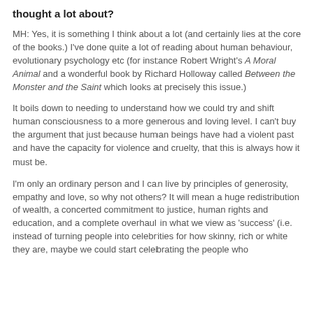thought a lot about?
MH: Yes, it is something I think about a lot (and certainly lies at the core of the books.) I've done quite a lot of reading about human behaviour, evolutionary psychology etc (for instance Robert Wright's A Moral Animal and a wonderful book by Richard Holloway called Between the Monster and the Saint which looks at precisely this issue.)
It boils down to needing to understand how we could try and shift human consciousness to a more generous and loving level. I can't buy the argument that just because human beings have had a violent past and have the capacity for violence and cruelty, that this is always how it must be.
I'm only an ordinary person and I can live by principles of generosity, empathy and love, so why not others? It will mean a huge redistribution of wealth, a concerted commitment to justice, human rights and education, and a complete overhaul in what we view as 'success' (i.e. instead of turning people into celebrities for how skinny, rich or white they are, maybe we could start celebrating the people who